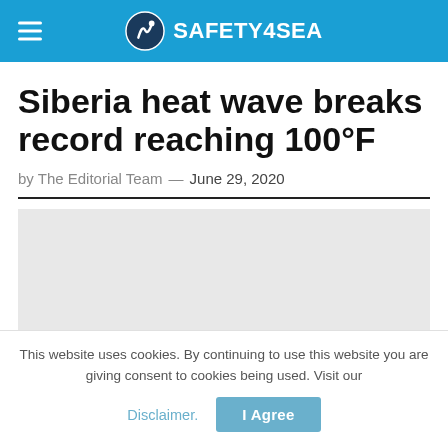SAFETY4SEA
Siberia heat wave breaks record reaching 100°F
by The Editorial Team — June 29, 2020
[Figure (photo): Grey image placeholder for article photo]
This website uses cookies. By continuing to use this website you are giving consent to cookies being used. Visit our Disclaimer. I Agree